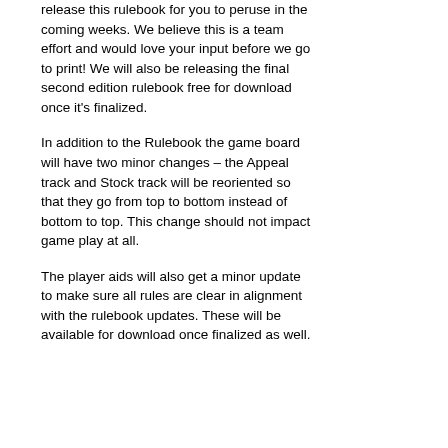release this rulebook for you to peruse in the coming weeks. We believe this is a team effort and would love your input before we go to print! We will also be releasing the final second edition rulebook free for download once it's finalized.
In addition to the Rulebook the game board will have two minor changes – the Appeal track and Stock track will be reoriented so that they go from top to bottom instead of bottom to top. This change should not impact game play at all.
The player aids will also get a minor update to make sure all rules are clear in alignment with the rulebook updates. These will be available for download once finalized as well.